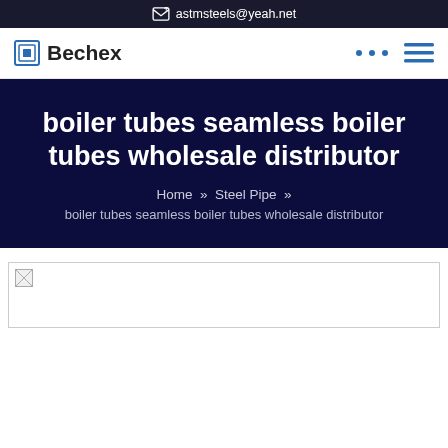astmsteels@yeah.net
Bechex
boiler tubes seamless boiler tubes wholesale distributor
Home » Steel Pipe » boiler tubes seamless boiler tubes wholesale distributor
[Figure (photo): Broken/loading image placeholder for boiler tubes product photo]